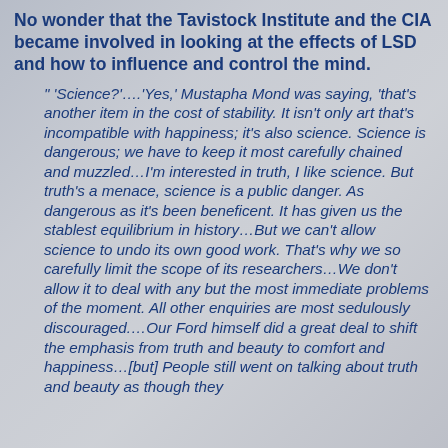No wonder that the Tavistock Institute and the CIA became involved in looking at the effects of LSD and how to influence and control the mind.
" 'Science?'....'Yes,' Mustapha Mond was saying, 'that's another item in the cost of stability. It isn't only art that's incompatible with happiness; it's also science. Science is dangerous; we have to keep it most carefully chained and muzzled…I'm interested in truth, I like science. But truth's a menace, science is a public danger. As dangerous as it's been beneficent. It has given us the stablest equilibrium in history…But we can't allow science to undo its own good work. That's why we so carefully limit the scope of its researchers…We don't allow it to deal with any but the most immediate problems of the moment. All other enquiries are most sedulously discouraged.…Our Ford himself did a great deal to shift the emphasis from truth and beauty to comfort and happiness…[but] People still went on talking about truth and beauty as though they